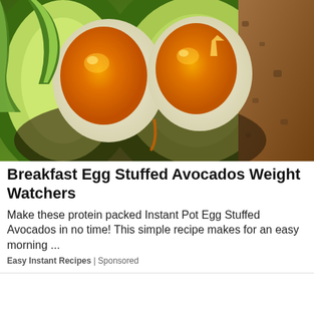[Figure (photo): Close-up photo of soft-boiled eggs cut in half with runny orange yolks, placed on sliced avocado halves on toast. Green avocado flesh is visible around the eggs.]
Breakfast Egg Stuffed Avocados Weight Watchers
Make these protein packed Instant Pot Egg Stuffed Avocados in no time! This simple recipe makes for an easy morning ...
Easy Instant Recipes | Sponsored
[Figure (illustration): Partial illustration showing red lightning bolt shapes and a hand at the bottom of the page, on a white background.]